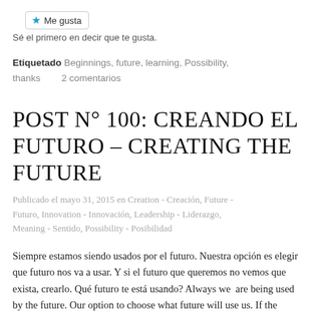[Figure (other): Me gusta (Like) button with blue star icon]
Sé el primero en decir que te gusta.
Etiquetado Beginnings, future, learning, Possibility, thanks    2 comentarios
POST N° 100: CREANDO EL FUTURO – CREATING THE FUTURE
Publicado el mayo 31, 2015 en Creation - Creación, Future - Futuro, Innovation - Innovación, Leadership - Liderazgo, Meaning - Sentido, Possibility - Posibilidad
Siempre estamos siendo usados por el futuro. Nuestra opción es elegir que futuro nos va a usar. Y si el futuro que queremos no vemos que exista, crearlo. Qué futuro te está usando? Always we are being used by the future. Our option to choose what future will use us. If the future...